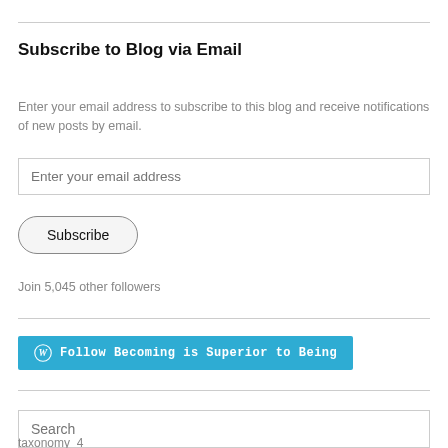Subscribe to Blog via Email
Enter your email address to subscribe to this blog and receive notifications of new posts by email.
Enter your email address
Subscribe
Join 5,045 other followers
[Figure (other): Follow button for WordPress blog: 'Follow Becoming is Superior to Being' with WordPress logo icon on teal/blue background]
Search
taxonomy_4